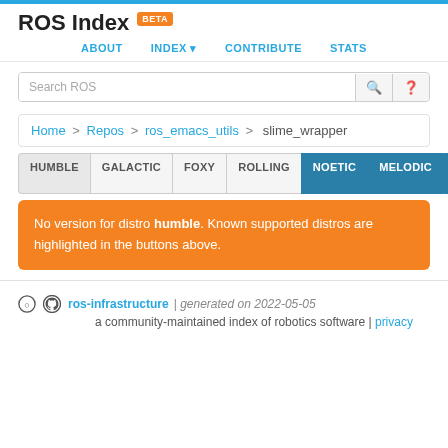ROS Index BETA
ABOUT  INDEX  CONTRIBUTE  STATS
Search ROS
Home > Repos > ros_emacs_utils > slime_wrapper
HUMBLE  GALACTIC  FOXY  ROLLING  NOETIC  MELODIC  OLDER
No version for distro humble. Known supported distros are highlighted in the buttons above.
ros-infrastructure | generated on 2022-05-05
a community-maintained index of robotics software | privacy